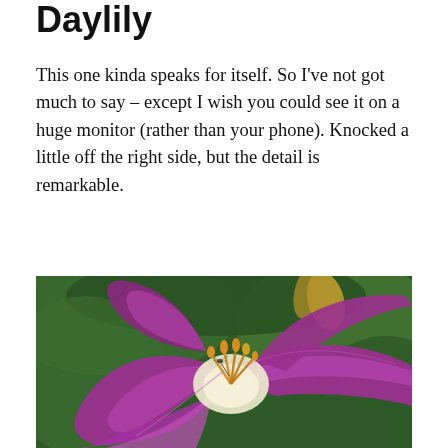Daylily
This one kinda speaks for itself. So I've not got much to say – except I wish you could see it on a huge monitor (rather than your phone). Knocked a little off the right side, but the detail is remarkable.
[Figure (photo): Close-up macro photograph of a purple/magenta daylily flower in bloom, showing detailed stamens with yellow tips and a small insect (damselfly) resting on one of them. Background is blurred green foliage with another daylily bud visible in the upper portion.]